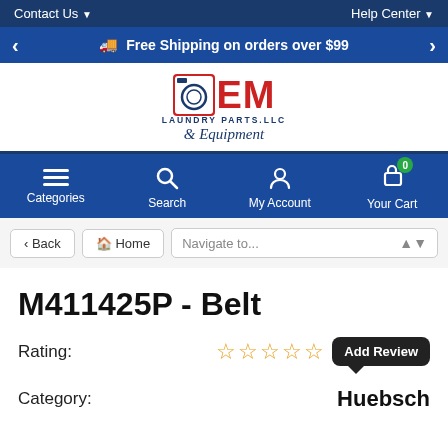Contact Us ▼   Help Center ▼
🚚 Free Shipping on orders over $99
[Figure (logo): OEM Laundry Parts LLC & Equipment logo with red OEM text and blue laundry machine icon]
Categories  Search  My Account  Your Cart (0)
‹ Back   🏠 Home   Navigate to...
M411425P - Belt
Rating: ☆☆☆☆☆ Add Review
Category: Huebsch